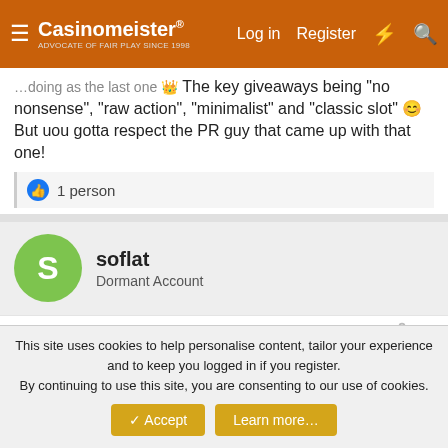Casinomeister — Log in | Register
doing as the last one 👑 The key giveaways being "no nonsense", "raw action", "minimalist" and "classic slot" 😊 But uou gotta respect the PR guy that came up with that one!
1 person
soflat
Dormant Account
Sep 26, 2006
#2
I was astonished they used the word 'minimalist' to describe a casino game.
This site uses cookies to help personalise content, tailor your experience and to keep you logged in if you register.
By continuing to use this site, you are consenting to our use of cookies.
Accept  Learn more...